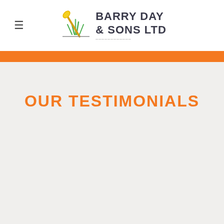Barry Day & Sons Ltd
OUR TESTIMONIALS